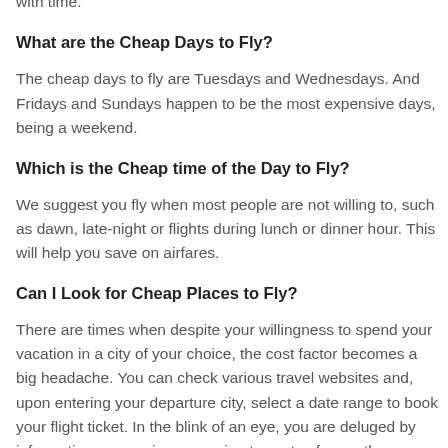Usually, to avoid any last-minute confusion, one should book at least 30-45 days in advance as the airfare tend to go up with time.
What are the Cheap Days to Fly?
The cheap days to fly are Tuesdays and Wednesdays. And Fridays and Sundays happen to be the most expensive days, being a weekend.
Which is the Cheap time of the Day to Fly?
We suggest you fly when most people are not willing to, such as dawn, late-night or flights during lunch or dinner hour. This will help you save on airfares.
Can I Look for Cheap Places to Fly?
There are times when despite your willingness to spend your vacation in a city of your choice, the cost factor becomes a big headache. You can check various travel websites and, upon entering your departure city, select a date range to book your flight ticket. In the blink of an eye, you are deluged by information concerning approximate costs of more than hundreds of countries from your departure point. You can select the most cost-effective